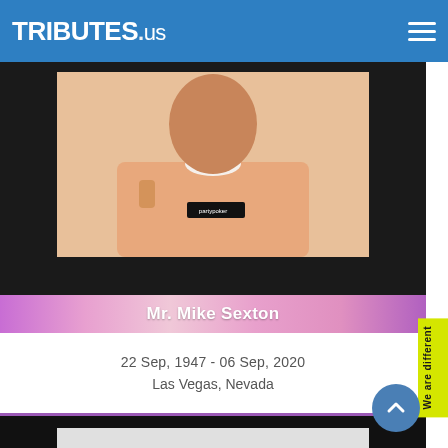TRIBUTES.us
[Figure (photo): Photo of Mr. Mike Sexton wearing a peach/salmon shirt, holding a partypoker badge, against a black background]
Mr. Mike Sexton
22 Sep, 1947 - 06 Sep, 2020
Las Vegas, Nevada
[Figure (photo): Photo of a man at a SiriusXM event, wearing a black shirt, smiling, against a white/grey backdrop with SiriusXM logos]